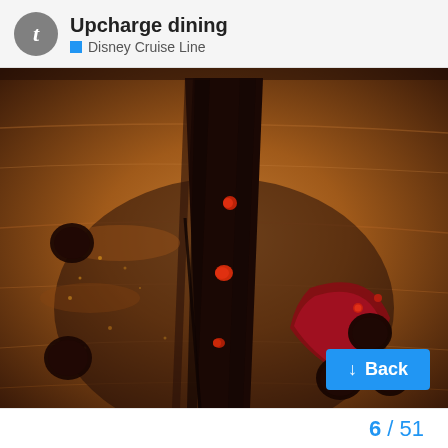Upcharge dining — Disney Cruise Line
[Figure (photo): Close-up photo of a chocolate dessert on a wooden plate. A tall cylindrical dark chocolate cake or roll stands in the center, decorated with small red berry-like garnishes and dusted with cocoa powder. Dark glossy chocolate sauce dots and a red berry compote are arranged around the base on the warm-toned wooden serving board.]
↓ Back
6 / 51